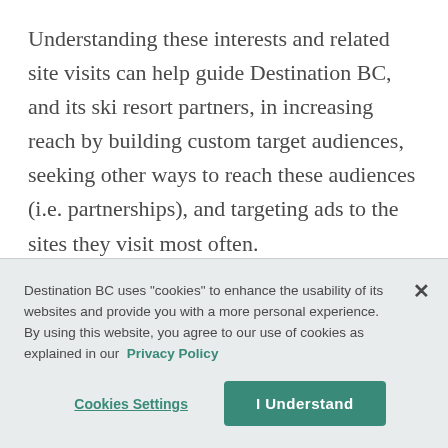Understanding these interests and related site visits can help guide Destination BC, and its ski resort partners, in increasing reach by building custom target audiences, seeking other ways to reach these audiences (i.e. partnerships), and targeting ads to the sites they visit most often.
With the support of the eleven ski resorts, in a collaborative approach to tagging, Destination BC
Destination BC uses "cookies" to enhance the usability of its websites and provide you with a more personal experience. By using this website, you agree to our use of cookies as explained in our Privacy Policy
Cookies Settings
I Understand